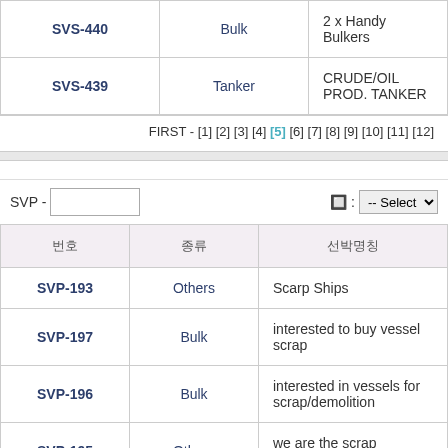| 번호 | 종류 | 선박명칭 |
| --- | --- | --- |
| SVS-440 | Bulk | 2 x Handy Bulkers |
| SVS-439 | Tanker | CRUDE/OIL PROD. TANKER |
FIRST - [1] [2] [3] [4] [5] [6] [7] [8] [9] [10] [11] [12]
SVP -
| 번호 | 종류 | 선박명칭 |
| --- | --- | --- |
| SVP-193 | Others | Scarp Ships |
| SVP-197 | Bulk | interested to buy vessel scrap |
| SVP-196 | Bulk | interested in vessels for scrap/demolition |
| SVP-195 | Others | we are the scrap company in turkey |